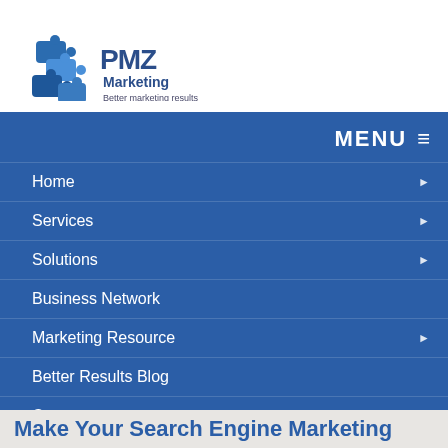[Figure (logo): PMZ Marketing logo with puzzle piece graphics and tagline 'Better marketing results']
MENU ≡
Home ▶
Services ▶
Solutions ▶
Business Network
Marketing Resource ▶
Better Results Blog
Contact
Make Your Search Engine Marketing